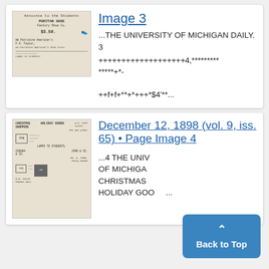[Figure (photo): Thumbnail of old newspaper page - University of Michigan Daily, showing advertisements including Puritan Shoe store at $3.50]
Image 3
...THE UNIVERSITY OF MICHIGAN DAILY. 3
+++++++++++++++++++4,********* *****+*-
++f+f+**+*+++*$4'**...
[Figure (photo): Thumbnail of old newspaper page - December 12, 1898 issue, showing Christmas Shoppers Holiday Goods advertisements]
December 12, 1898 (vol. 9, iss. 65) • Page Image 4
...4 THE UNIVERSITY OF MICHIGAN DAILY. CHRISTMAS HOLIDAY GOODS...